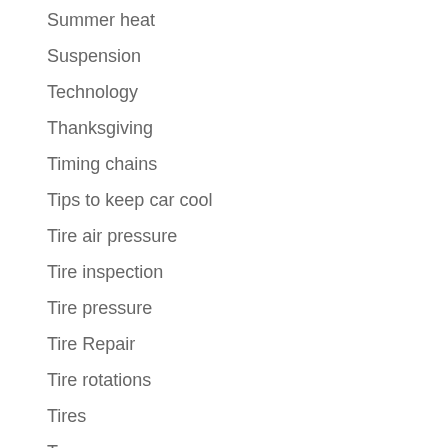Summer heat
Suspension
Technology
Thanksgiving
Timing chains
Tips to keep car cool
Tire air pressure
Tire inspection
Tire pressure
Tire Repair
Tire rotations
Tires
Tow
Towing
Towing a boat